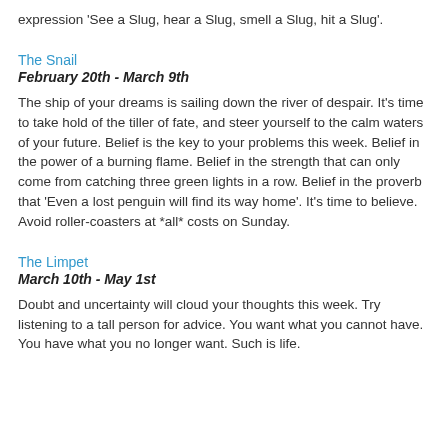expression 'See a Slug, hear a Slug, smell a Slug, hit a Slug'.
The Snail
February 20th - March 9th
The ship of your dreams is sailing down the river of despair. It's time to take hold of the tiller of fate, and steer yourself to the calm waters of your future. Belief is the key to your problems this week. Belief in the power of a burning flame. Belief in the strength that can only come from catching three green lights in a row. Belief in the proverb that 'Even a lost penguin will find its way home'. It's time to believe. Avoid roller-coasters at *all* costs on Sunday.
The Limpet
March 10th - May 1st
Doubt and uncertainty will cloud your thoughts this week. Try listening to a tall person for advice. You want what you cannot have. You have what you no longer want. Such is life.